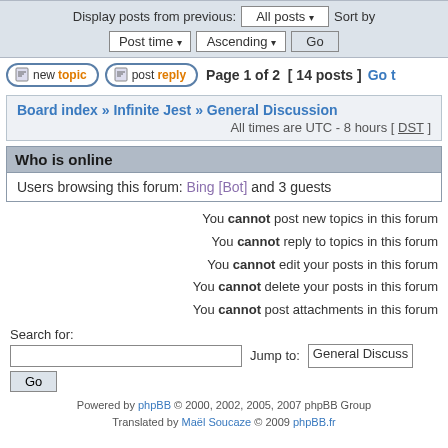Display posts from previous: All posts ▾ Sort by Post time ▾ Ascending ▾ Go
new topic  post reply  Page 1 of 2 [ 14 posts ] Go t
Board index » Infinite Jest » General Discussion All times are UTC - 8 hours [ DST ]
Who is online
Users browsing this forum: Bing [Bot] and 3 guests
You cannot post new topics in this forum
You cannot reply to topics in this forum
You cannot edit your posts in this forum
You cannot delete your posts in this forum
You cannot post attachments in this forum
Search for:
Jump to: General Discuss
Powered by phpBB © 2000, 2002, 2005, 2007 phpBB Group Translated by Maël Soucaze © 2009 phpBB.fr